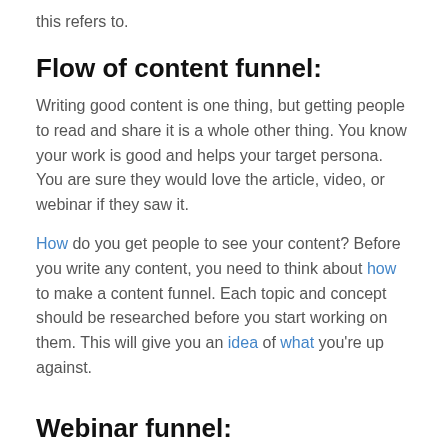this refers to.
Flow of content funnel:
Writing good content is one thing, but getting people to read and share it is a whole other thing. You know your work is good and helps your target persona. You are sure they would love the article, video, or webinar if they saw it.
How do you get people to see your content? Before you write any content, you need to think about how to make a content funnel. Each topic and concept should be researched before you start working on them. This will give you an idea of what you're up against.
Webinar funnel:
It's likely that you already use webinar software, so if you want to use this funnel, you already use that software to run your live or automated webinar. There is no need to